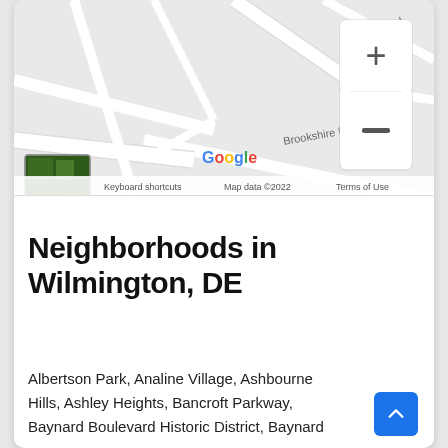[Figure (map): Google Maps screenshot showing roads including Brickton Rd and Brookshire Dr in Wilmington DE area, with zoom controls (+/-), a satellite thumbnail inset, and Google logo. Footer shows: Keyboard shortcuts  Map data ©2022  Terms of Use]
Neighborhoods in Wilmington, DE
Albertson Park, Analine Village, Ashbourne Hills, Ashley Heights, Bancroft Parkway, Baynard Boulevard Historic District, Baynard